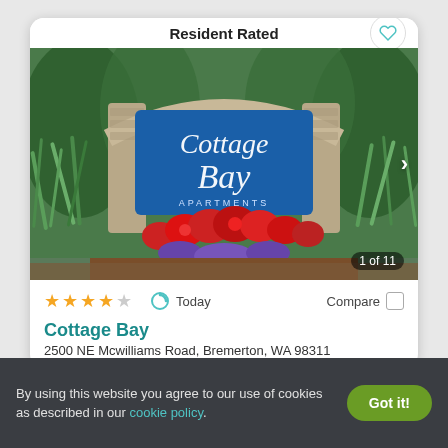Resident Rated
[Figure (photo): Cottage Bay Apartments entrance sign with blue background, surrounded by lush green grass, red flowers, and purple flowers. Sign reads 'Cottage Bay Apartments'.]
1 of 11
★★★★☆  Today  Compare
Cottage Bay
2500 NE Mcwilliams Road, Bremerton, WA 98311
By using this website you agree to our use of cookies as described in our cookie policy.